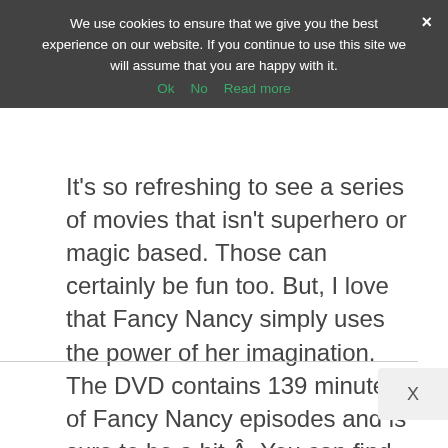We use cookies to ensure that we give you the best experience on our website. If you continue to use this site we will assume that you are happy with it.
It's so refreshing to see a series of movies that isn't superhero or magic based. Those can certainly be fun too. But, I love that Fancy Nancy simply uses the power of her imagination. The DVD contains 139 minutes of Fancy Nancy episodes and is sure to be a hit.Â  You can find this DVD on Amazon as well as a collection of Fancy Nancy clothes, toys and books to go along with it. Buy it now.